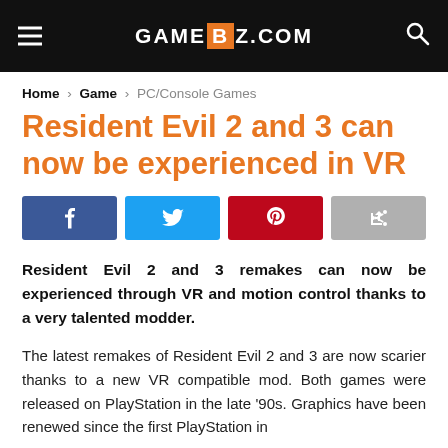GAMEBZ.COM
Home > Game > PC/Console Games
Resident Evil 2 and 3 can now be experienced in VR
[Figure (other): Social sharing buttons: Facebook, Twitter, Pinterest, Share]
Resident Evil 2 and 3 remakes can now be experienced through VR and motion control thanks to a very talented modder.
The latest remakes of Resident Evil 2 and 3 are now scarier thanks to a new VR compatible mod. Both games were released on PlayStation in the late '90s. Graphics have been renewed since the first PlayStation in...